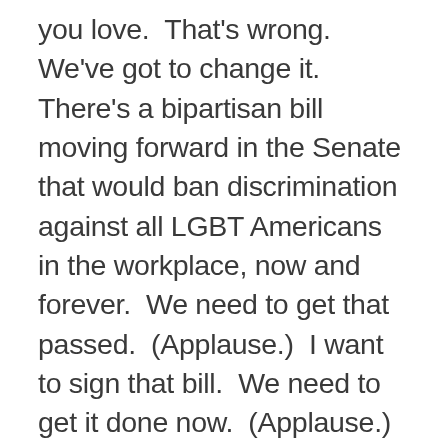you love.  That's wrong.  We've got to change it.  There's a bipartisan bill moving forward in the Senate that would ban discrimination against all LGBT Americans in the workplace, now and forever.  We need to get that passed.  (Applause.)  I want to sign that bill.  We need to get it done now.  (Applause.)
And I think we can make that happen — because after the last